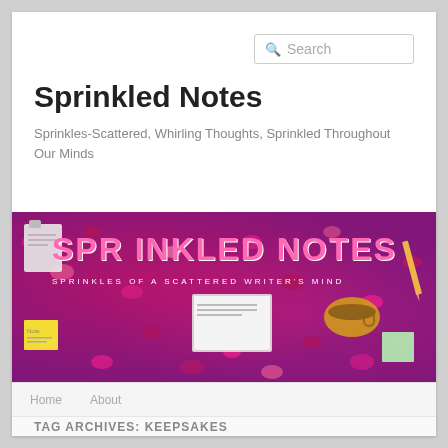Search
Sprinkled Notes
Sprinkles-Scattered, Whirling Thoughts, Sprinkled Throughout Our Minds
[Figure (photo): Banner image for Sprinkled Notes blog showing the text 'SPRINKLED NOTES' in pink lettering over a colorful scattered confetti/gemstone background with notebooks, sticky notes, a candle, and paper items. Subtitle reads 'SPRINKLES OF A SCATTERED WRITER'S MIND'.]
TAG ARCHIVES: KEEPSAKES